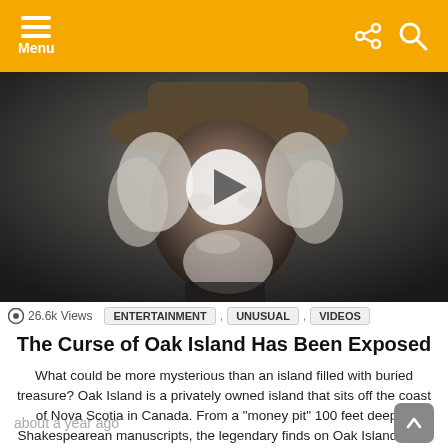Menu
[Figure (photo): Close-up portrait of an older man with white hair and beard wearing a cowboy hat, with a video play button overlay. Shows 26.6k Views.]
26.6k Views   ENTERTAINMENT , UNUSUAL , VIDEOS
The Curse of Oak Island Has Been Exposed
What could be more mysterious than an island filled with buried treasure? Oak Island is a privately owned island that sits off the coast of Nova Scotia in Canada. From a "money pit" 100 feet deep to Shakespearean manuscripts, the legendary finds on Oak Island have kept it in the news for centuries. And so [...] MORE
about a year ago